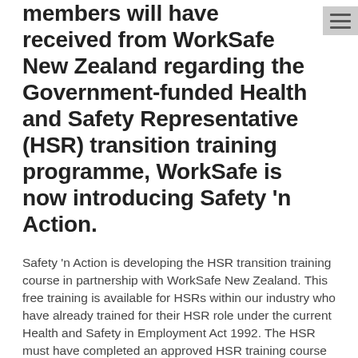members will have received from WorkSafe New Zealand regarding the Government-funded Health and Safety Representative (HSR) transition training programme, WorkSafe is now introducing Safety 'n Action.
Safety 'n Action is developing the HSR transition training course in partnership with WorkSafe New Zealand. This free training is available for HSRs within our industry who have already trained for their HSR role under the current Health and Safety in Employment Act 1992. The HSR must have completed an approved HSR training course to at least stage 1 (or equivalent).